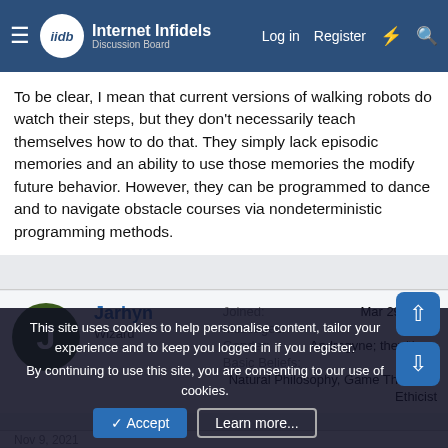Internet Infidels | Log in | Register
To be clear, I mean that current versions of walking robots do watch their steps, but they don't necessarily teach themselves how to do that. They simply lack episodic memories and an ability to use those memories the modify future behavior. However, they can be programmed to dance and to navigate obstacle courses via nondeterministic programming methods.
Jarhyn
Wizard
Joined: Mar 29, 2010
Messages: 11,166
Gender: Androgyne; they/them
Basic Beliefs: Natural Philosophy, Game Theoretic Ethicist
Nov 9, 2021  #719
This site uses cookies to help personalise content, tailor your experience and to keep you logged in if you register.
By continuing to use this site, you are consenting to our use of cookies.